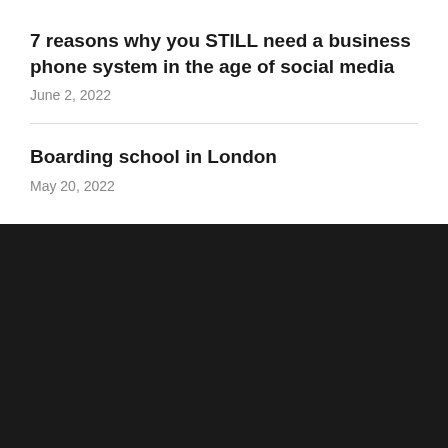7 reasons why you STILL need a business phone system in the age of social media
June 2, 2022
Boarding school in London
May 20, 2022
Copyright © 2022 — Mr. Hoffman's Blog. All Rights Reserved
Designed by WPZOOM